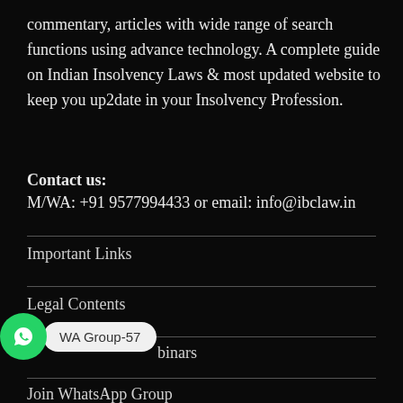commentary, articles with wide range of search functions using advance technology. A complete guide on Indian Insolvency Laws & most updated website to keep you up2date in your Insolvency Profession.
Contact us: M/WA: +91 9577994433 or email: info@ibclaw.in
Important Links
Legal Contents
Webinars
Join WhatsApp Group